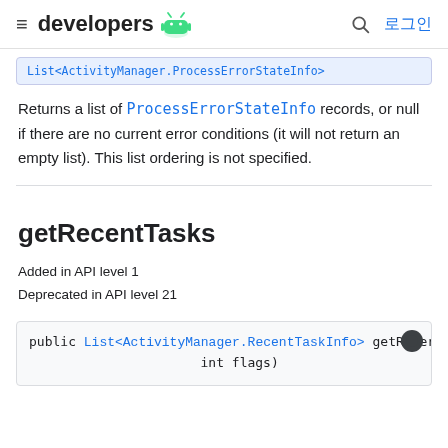≡ developers 🤖 🔍 로그인
List<ActivityManager.ProcessErrorStateInfo>
Returns a list of ProcessErrorStateInfo records, or null if there are no current error conditions (it will not return an empty list). This list ordering is not specified.
getRecentTasks
Added in API level 1
Deprecated in API level 21
public List<ActivityManager.RecentTaskInfo> getRecentTasks(
    int flags)